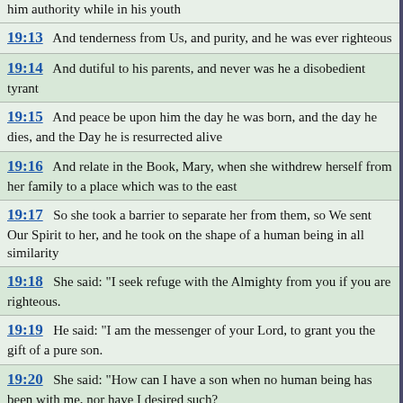him authority while in his youth
19:13  And tenderness from Us, and purity, and he was ever righteous
19:14  And dutiful to his parents, and never was he a disobedient tyrant
19:15  And peace be upon him the day he was born, and the day he dies, and the Day he is resurrected alive
19:16  And relate in the Book, Mary, when she withdrew herself from her family to a place which was to the east
19:17  So she took a barrier to separate her from them, so We sent Our Spirit to her, and he took on the shape of a human being in all similarity
19:18  She said: "I seek refuge with the Almighty from you if you are righteous.
19:19  He said: "I am the messenger of your Lord, to grant you the gift of a pure son.
19:20  She said: "How can I have a son when no human being has been with me, nor have I desired such?
19:21  He said: "It is such that your Lord has said, it is easy for Me. And We shall make him a sign for the people and a mercy from Us. It is a matter already decided.